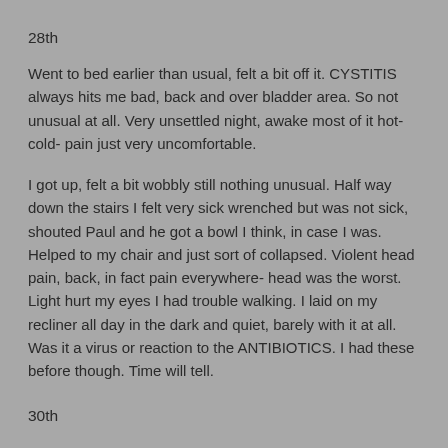28th
Went to bed earlier than usual, felt a bit off it. CYSTITIS always hits me bad, back and over bladder area. So not unusual at all. Very unsettled night, awake most of it hot- cold- pain just very uncomfortable.
I got up, felt a bit wobbly still nothing unusual. Half way down the stairs I felt very sick wrenched but was not sick, shouted Paul and he got a bowl I think, in case I was. Helped to my chair and just sort of collapsed. Violent head pain, back, in fact pain everywhere- head was the worst. Light hurt my eyes I had trouble walking. I laid on my recliner all day in the dark and quiet, barely with it at all. Was it a virus or reaction to the ANTIBIOTICS. I had these before though. Time will tell.
30th